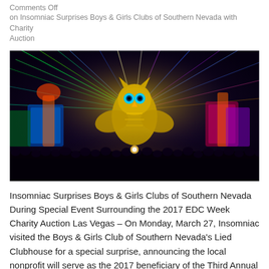Comments Off
on Insomniac Surprises Boys & Girls Clubs of Southern Nevada with Charity Auction
[Figure (photo): Concert/festival photo showing a large illuminated owl stage decoration surrounded by colorful laser lights and a crowd in the foreground, from an EDC (Electric Daisy Carnival) event.]
Insomniac Surprises Boys & Girls Clubs of Southern Nevada During Special Event Surrounding the 2017 EDC Week Charity Auction Las Vegas – On Monday, March 27, Insomniac visited the Boys & Girls Club of Southern Nevada's Lied Clubhouse for a special surprise, announcing the local nonprofit will serve as the 2017 beneficiary of the Third Annual EDC Week Charity Auction. The funds raised from this year's auction will go towards creating much-needed art programs for the children across all Boys & Girls Clubs in Southern Nevada. Insomniac transformed the Lied Clubhouse gym into a